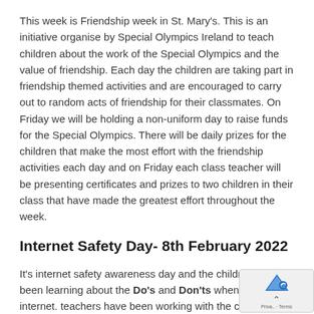This week is Friendship week in St. Mary's. This is an initiative organise by Special Olympics Ireland to teach children about the work of the Special Olympics and the value of friendship. Each day the children are taking part in friendship themed activities and are encouraged to carry out to random acts of friendship for their classmates. On Friday we will be holding a non-uniform day to raise funds for the Special Olympics. There will be daily prizes for the children that make the most effort with the friendship activities each day and on Friday each class teacher will be presenting certificates and prizes to two children in their class that have made the greatest effort throughout the week.
Internet Safety Day- 8th February 2022
It's internet safety awareness day and the children have been learning about the Do's and Don'ts when using the internet. teachers have been working with the children, throughout the day, on how to keep themselves safe when using devices, apps